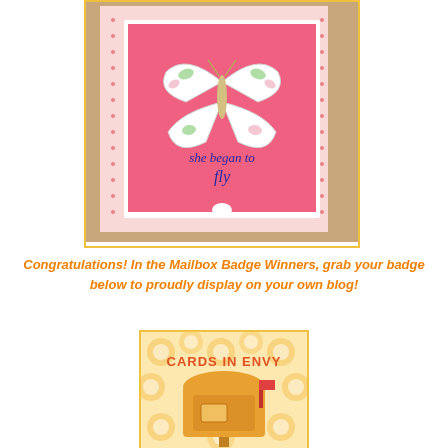[Figure (photo): A handmade greeting card with a white decorative frame with pink polka-dot paper, a pink background panel featuring a white butterfly with green and pink detailing, and cursive text reading 'she began to fly']
Congratulations! In the Mailbox Badge Winners, grab your badge below to proudly display on your own blog!
[Figure (logo): Cards in Envy badge logo showing an orange/golden mailbox illustration on a floral background with text 'CARDS IN ENVY']